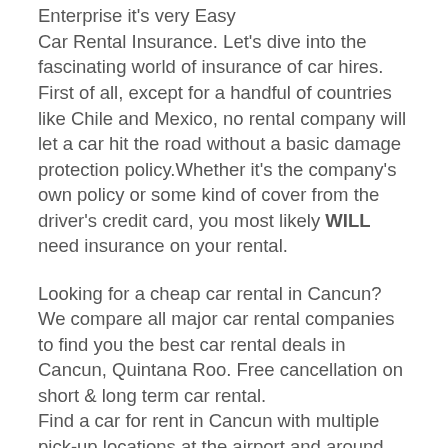Enterprise it's very Easy
Car Rental Insurance. Let's dive into the fascinating world of insurance of car hires. First of all, except for a handful of countries like Chile and Mexico, no rental company will let a car hit the road without a basic damage protection policy.Whether it's the company's own policy or some kind of cover from the driver's credit card, you most likely WILL need insurance on your rental.
Looking for a cheap car rental in Cancun? We compare all major car rental companies to find you the best car rental deals in Cancun, Quintana Roo. Free cancellation on short & long term car rental.
Find a car for rent in Cancun with multiple pick-up locations at the airport and around the city. You can search based on a specific pick-up location, and then refine to explore different prices at several nearby locations with different car rental companies. You can customize both